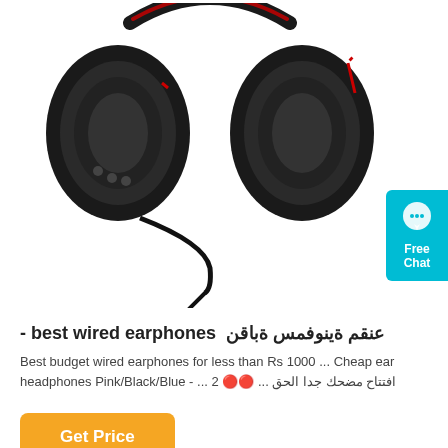[Figure (photo): Black gaming headset with red accents and a flexible boom microphone, shown against a white background. The headset ear cups are visible along with a cable and microphone arm extending downward.]
- best wired earphones نقابة سمفونية مقنع
Best budget wired earphones for less than Rs 1000 ... Cheap ear headphones Pink/Black/Blue - ... افتتاح مضحك جدا الحق ... 🔴🔴 2
Get Price